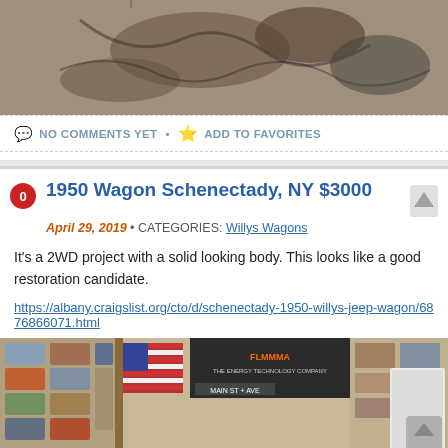[Figure (photo): Aerial or overhead photo showing cracked, dark terrain or road surface with shadows]
NO COMMENTS YET • ADD TO FAVORITES
1950 Wagon Schenectady, NY $3000
April 29, 2019 • CATEGORIES: Willys Wagons
It's a 2WD project with a solid looking body. This looks like a good restoration candidate.
https://albany.craigslist.org/cto/d/schenectady-1950-willys-jeep-wagon/6876866071.html
[Figure (photo): Interior of a garage or shop with license plates on the wall, an American flag, and various memorabilia]